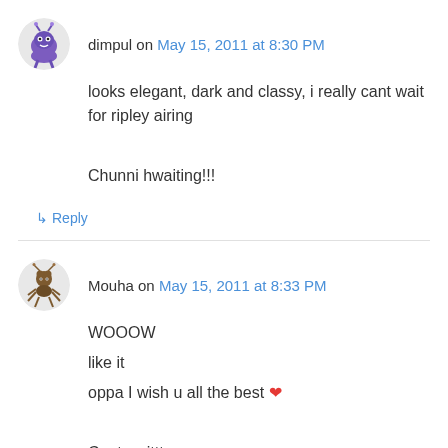dimpul on May 15, 2011 at 8:30 PM
looks elegant, dark and classy, i really cant wait for ripley airing

Chunni hwaiting!!!
↳ Reply
Mouha on May 15, 2011 at 8:33 PM
WOOOW
like it
oppa I wish u all the best ❤

Cant waittt
↳ Reply